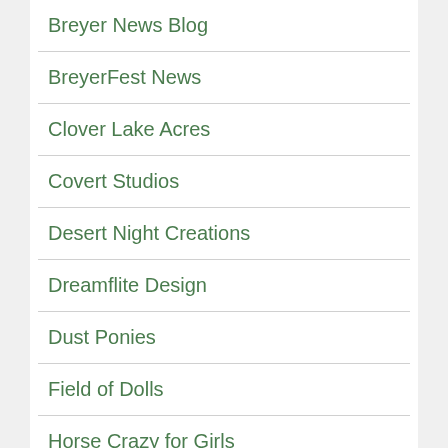Breyer News Blog
BreyerFest News
Clover Lake Acres
Covert Studios
Desert Night Creations
Dreamflite Design
Dust Ponies
Field of Dolls
Horse Crazy for Girls
Horse Models Galore
Horse Tender Studio